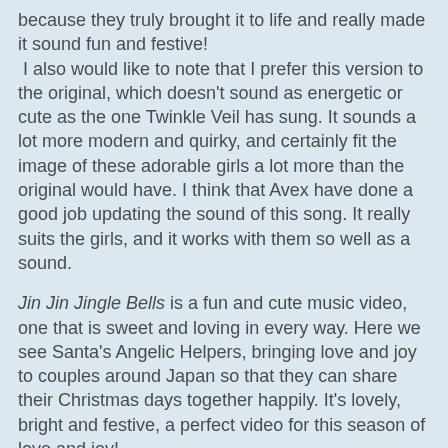because they truly brought it to life and really made it sound fun and festive!
 I also would like to note that I prefer this version to the original, which doesn't sound as energetic or cute as the one Twinkle Veil has sung. It sounds a lot more modern and quirky, and certainly fit the image of these adorable girls a lot more than the original would have. I think that Avex have done a good job updating the sound of this song. It really suits the girls, and it works with them so well as a sound.
Jin Jin Jingle Bells is a fun and cute music video, one that is sweet and loving in every way. Here we see Santa's Angelic Helpers, bringing love and joy to couples around Japan so that they can share their Christmas days together happily. It's lovely, bright and festive, a perfect video for this season of love and joy!
The only problem...? Those stark white costumes and the amount of glowing effects! But I guess we can put that all behind us, for Christmas~